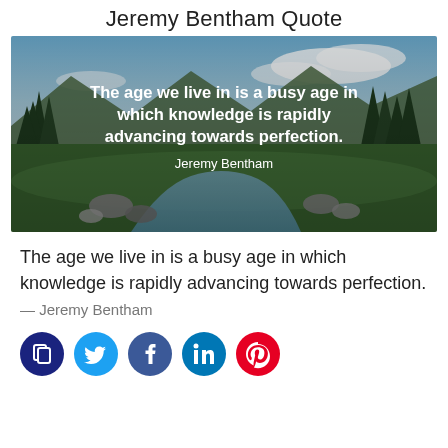Jeremy Bentham Quote
[Figure (photo): Mountain landscape with river, pine trees, rocks, and blue sky with clouds. White text overlay reads: 'The age we live in is a busy age in which knowledge is rapidly advancing towards perfection.' with 'Jeremy Bentham' below.]
The age we live in is a busy age in which knowledge is rapidly advancing towards perfection.
— Jeremy Bentham
[Figure (infographic): Row of five social sharing icon buttons: copy (dark blue), Twitter (light blue), Facebook (dark blue), LinkedIn (teal), Pinterest (red)]